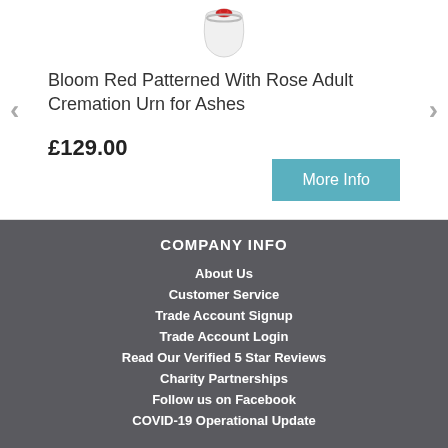[Figure (photo): Small cremation urn with red rose pattern on top, viewed from above]
Bloom Red Patterned With Rose Adult Cremation Urn for Ashes
£129.00
More Info
COMPANY INFO
About Us
Customer Service
Trade Account Signup
Trade Account Login
Read Our Verified 5 Star Reviews
Charity Partnerships
Follow us on Facebook
COVID-19 Operational Update